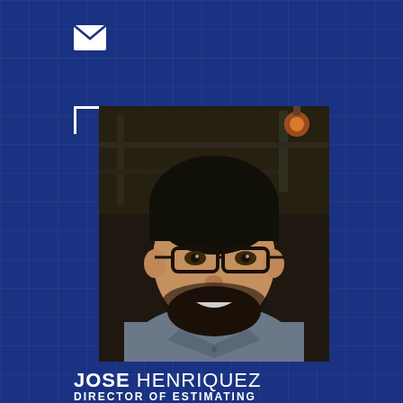[Figure (illustration): White envelope/email icon on dark blue background]
[Figure (photo): Professional headshot of Jose Henriquez, a man with glasses and a beard wearing a grey shirt, photographed in an industrial setting]
JOSE HENRIQUEZ
DIRECTOR OF ESTIMATING
Jose attended the University of Houston Construction